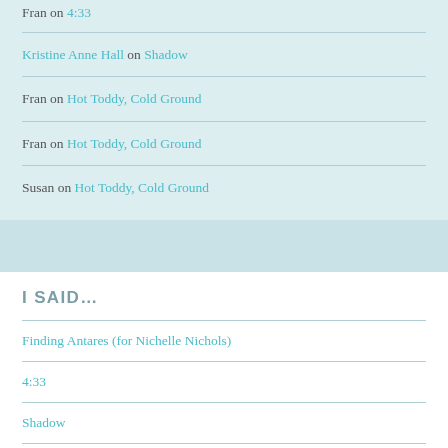Fran on 4:33
Kristine Anne Hall on Shadow
Fran on Hot Toddy, Cold Ground
Fran on Hot Toddy, Cold Ground
Susan on Hot Toddy, Cold Ground
I SAID...
Finding Antares (for Nichelle Nichols)
4:33
Shadow
Hot Toddy, Cold Ground
But Old Towns Are Always Haunted, Aren't They?